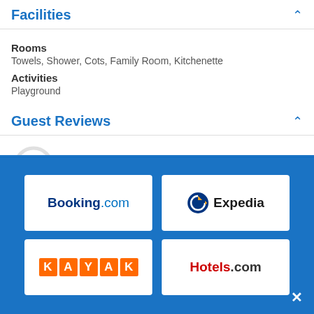Facilities
Rooms
Towels, Shower, Cots, Family Room, Kitchenette
Activities
Playground
Guest Reviews
Good
1914 Reviews
Rating Summary
[Figure (logo): Booking.com logo]
[Figure (logo): Expedia logo]
[Figure (logo): KAYAK logo]
[Figure (logo): Hotels.com logo]